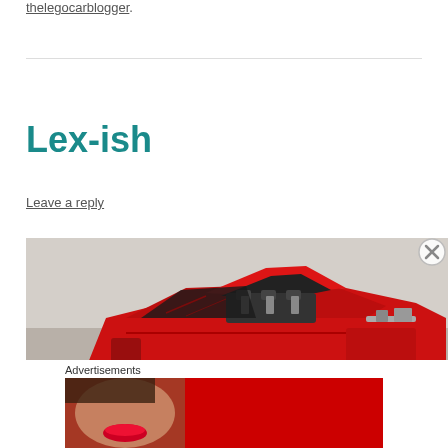thelegocarblogger.
Lex-ish
Leave a reply
[Figure (photo): Close-up photo of a red LEGO car model with open hood/engine bay visible, placed on a light gray surface]
Advertisements
[Figure (photo): Macy's advertisement banner with red background showing a woman's face with red lips. Text reads: KISS BORING LIPS GOODBYE SHOP NOW macys]